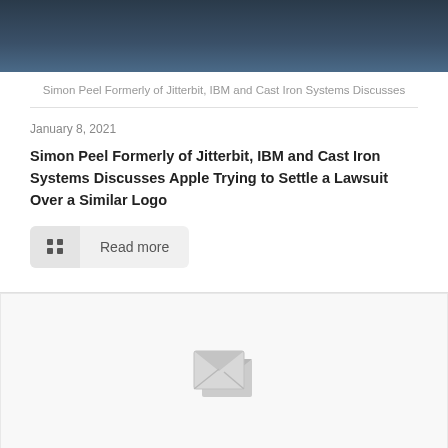[Figure (photo): Dark blue glass building facade photo at top of page]
Simon Peel Formerly of Jitterbit, IBM and Cast Iron Systems Discusses
January 8, 2021
Simon Peel Formerly of Jitterbit, IBM and Cast Iron Systems Discusses Apple Trying to Settle a Lawsuit Over a Similar Logo
Read more
[Figure (photo): Placeholder image block with broken image icon]